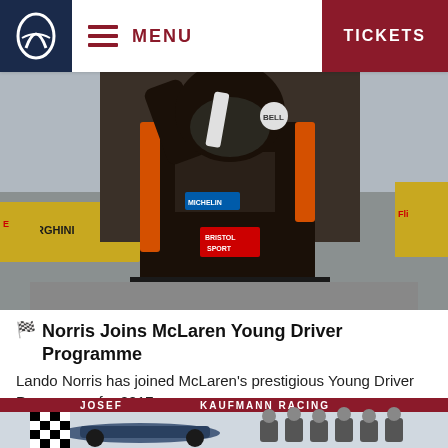MENU | TICKETS
[Figure (photo): Racing driver in black and orange race suit with helmet raised, celebrating on podium at Josef Kaufmann Racing event, Pirelli and Lamborghini banners visible in background]
Norris Joins McLaren Young Driver Programme
Lando Norris has joined McLaren's prestigious Young Driver Programme for 2017.
WEDNESDAY, FEBRUARY 22ND 2017 • MOTORSPORT
[Figure (photo): Josef Kaufmann Racing team celebration photo with race car and team members giving thumbs up]